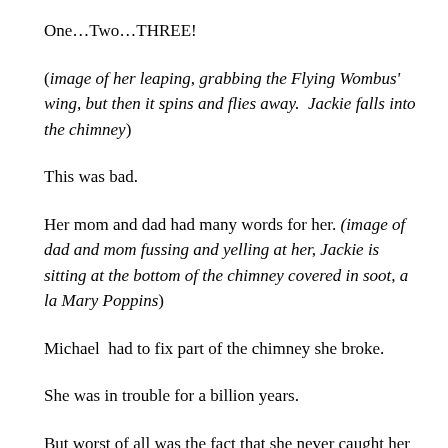One…Two…THREE!
(image of her leaping, grabbing the Flying Wombus' wing, but then it spins and flies away.  Jackie falls into the chimney)
This was bad.
Her mom and dad had many words for her. (image of dad and mom fussing and yelling at her, Jackie is sitting at the bottom of the chimney covered in soot, a la Mary Poppins)
Michael  had to fix part of the chimney she broke.
She was in trouble for a billion years.
But worst of all was the fact that she never caught her monster.
That night after dinner she went to bed. An awful day. A